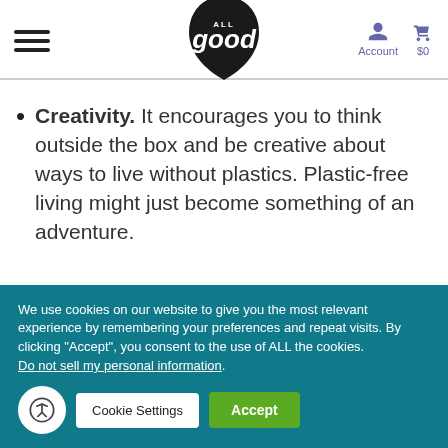ALL good — Account $0
Creativity. It encourages you to think outside the box and be creative about ways to live without plastics. Plastic-free living might just become something of an adventure.
We use cookies on our website to give you the most relevant experience by remembering your preferences and repeat visits. By clicking "Accept", you consent to the use of ALL the cookies. Do not sell my personal information.